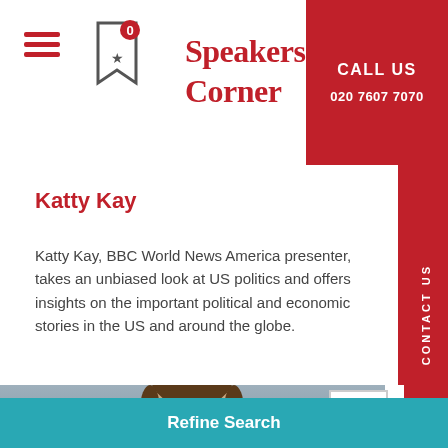[Figure (screenshot): Speakers Corner website header with hamburger menu, bookmark icon with badge '0', and Speakers Corner logo in red]
CALL US
020 7607 7070
Katty Kay
Katty Kay, BBC World News America presenter, takes an unbiased look at US politics and offers insights on the important political and economic stories in the US and around the globe.
[Figure (photo): Photo of a man with brown hair against a grey background]
Refine Search